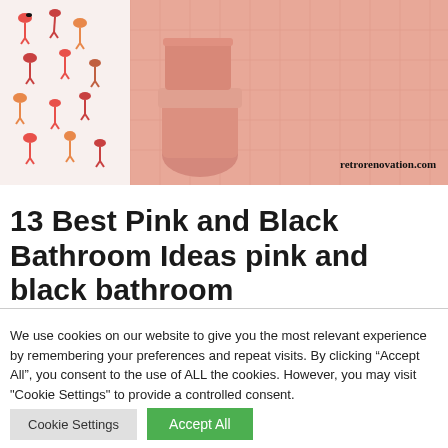[Figure (photo): Photo of a pink tiled bathroom with a flamingo-print shower curtain on the left and a pink toilet. The image has a watermark reading 'retrorenovation.com' in the lower right.]
13 Best Pink and Black Bathroom Ideas pink and black bathroom
We use cookies on our website to give you the most relevant experience by remembering your preferences and repeat visits. By clicking “Accept All”, you consent to the use of ALL the cookies. However, you may visit "Cookie Settings" to provide a controlled consent.